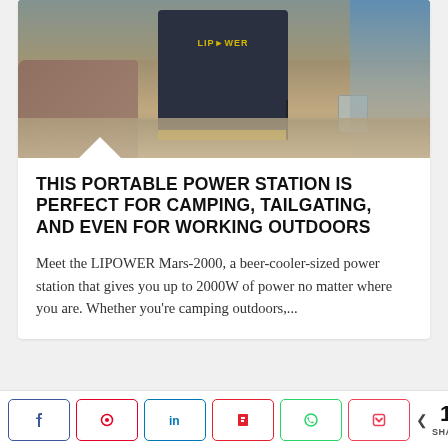[Figure (photo): Outdoor photo of a LIPOWER portable power station (black and yellow) sitting on rocky ground, with a metal cup nearby and blue equipment in the background.]
THIS PORTABLE POWER STATION IS PERFECT FOR CAMPING, TAILGATING, AND EVEN FOR WORKING OUTDOORS
Meet the LIPOWER Mars-2000, a beer-cooler-sized power station that gives you up to 2000W of power no matter where you are. Whether you're camping outdoors,...
[Figure (photo): Partial view of a second article image showing close-up of a textured surface with dark dot pattern.]
< 17 SHARES